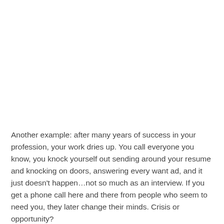Another example: after many years of success in your profession, your work dries up. You call everyone you know, you knock yourself out sending around your resume and knocking on doors, answering every want ad, and it just doesn't happen…not so much as an interview. If you get a phone call here and there from people who seem to need you, they later change their minds. Crisis or opportunity?
I'm speaking from experience here; this is happening to me